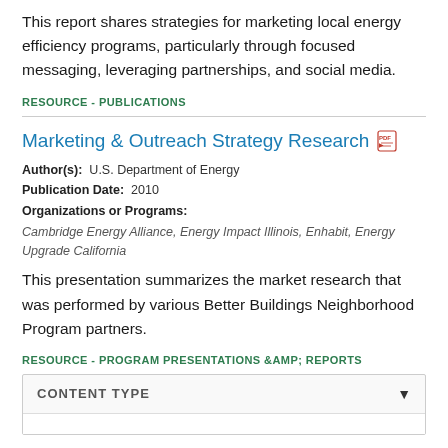This report shares strategies for marketing local energy efficiency programs, particularly through focused messaging, leveraging partnerships, and social media.
RESOURCE - PUBLICATIONS
Marketing & Outreach Strategy Research
Author(s): U.S. Department of Energy
Publication Date: 2010
Organizations or Programs:
Cambridge Energy Alliance, Energy Impact Illinois, Enhabit, Energy Upgrade California
This presentation summarizes the market research that was performed by various Better Buildings Neighborhood Program partners.
RESOURCE - PROGRAM PRESENTATIONS &AMP; REPORTS
CONTENT TYPE